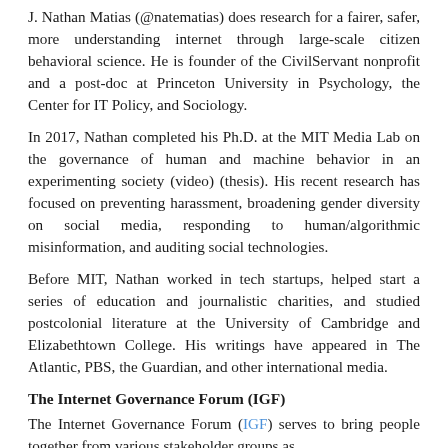J. Nathan Matias (@natematias) does research for a fairer, safer, more understanding internet through large-scale citizen behavioral science. He is founder of the CivilServant nonprofit and a post-doc at Princeton University in Psychology, the Center for IT Policy, and Sociology.
In 2017, Nathan completed his Ph.D. at the MIT Media Lab on the governance of human and machine behavior in an experimenting society (video) (thesis). His recent research has focused on preventing harassment, broadening gender diversity on social media, responding to human/algorithmic misinformation, and auditing social technologies.
Before MIT, Nathan worked in tech startups, helped start a series of education and journalistic charities, and studied postcolonial literature at the University of Cambridge and Elizabethtown College. His writings have appeared in The Atlantic, PBS, the Guardian, and other international media.
The Internet Governance Forum (IGF)
The Internet Governance Forum (IGF) serves to bring people together from various stakeholder groups as